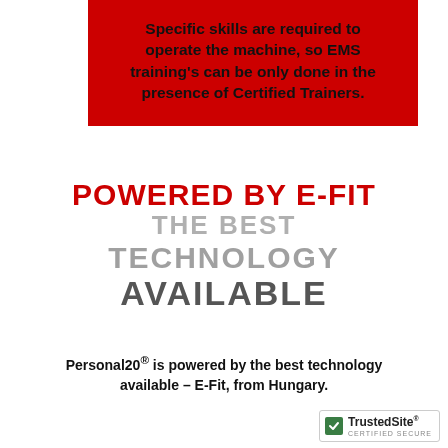Specific skills are required to operate the machine, so EMS training's can be only done in the presence of Certified Trainers.
POWERED BY E-FIT THE BEST TECHNOLOGY AVAILABLE
Personal20® is powered by the best technology available – E-Fit, from Hungary.
[Figure (logo): TrustedSite Certified Secure badge with green checkmark]